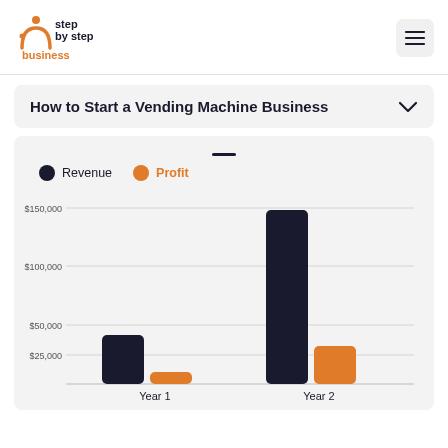[Figure (logo): Step by Step Business logo — orange arc icon with dark blue text]
How to Start a Vending Machine Business
[Figure (grouped-bar-chart): Revenue and Profit by Year]